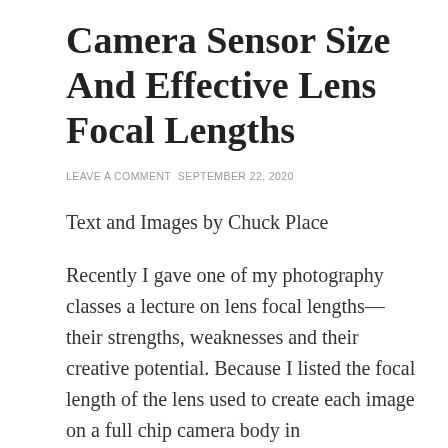Camera Sensor Size And Effective Lens Focal Lengths
LEAVE A COMMENT  SEPTEMBER 22, 2020
Text and Images by Chuck Place
Recently I gave one of my photography classes a lecture on lens focal lengths—their strengths, weaknesses and their creative potential. Because I listed the focal length of the lens used to create each image on a full chip camera body in